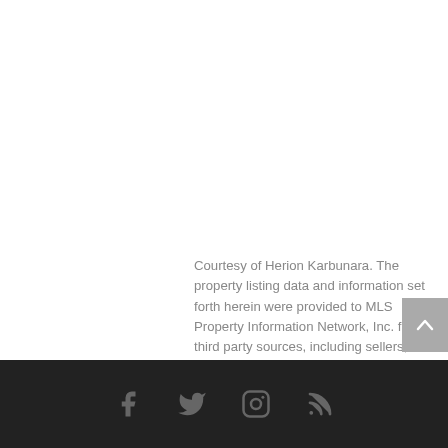Courtesy of Herion Karbunara. The property listing data and information set forth herein were provided to MLS Property Information Network, Inc. from third party sources, including sellers, lessors and public records, and were compiled by MLS Property Information Network, Inc. The property listing data and information are for the personal, non-commercial use of consumers having a good faith interest in purchasing or leasing listed properties of the type displayed to them and may not be used for any purpose other than to identify prospective properties which such consumers may have a good faith interest in purchasing or leasing. MLS Property Information Network, Inc. and its subscribers disclaim any and all representations and warranties as to the accuracy of the property listing data and information set forth herein.
BWG IDX
[Figure (other): Footer bar with social media icons: Facebook, Twitter, Instagram, RSS feed]